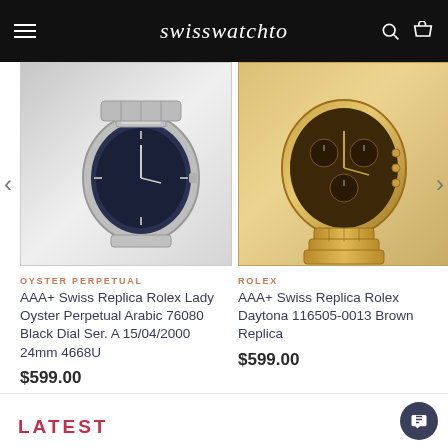swisswatchto
[Figure (photo): Silver Rolex Lady Oyster Perpetual watch with black dial on metal bracelet]
OYSTER PERPETUAL
AAA+ Swiss Replica Rolex Lady Oyster Perpetual Arabic 76080 Black Dial Ser. A 15/04/2000 24mm 4668U
$599.00
[Figure (photo): Gold/rose gold Rolex Daytona 116505-0013 chronograph watch with brown dial]
ROLEX
AAA+ Swiss Replica Rolex Daytona 116505-0013 Brown Replica
$599.00
LATEST